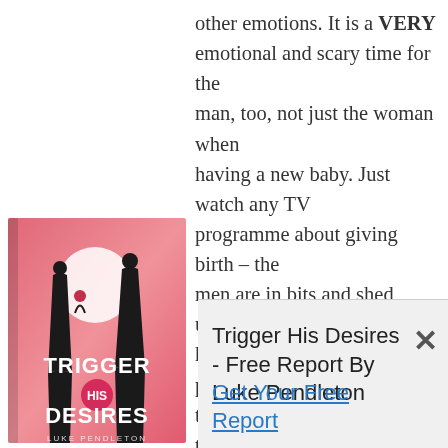other emotions. It is a VERY emotional and scary time for the man, too, not just the woman when having a new baby. Just watch any TV programme about giving birth – the men are in bits and shed uncontrollable tears. My husband pounded the corridors in tears, in the days when they threw the men out of the delivery room (42 years ago) on examiation and if things were not going well. He was an emotional wreck. Just keep this all firmly in
[Figure (illustration): Book cover for 'Trigger His Desires' by Luke Pendleton, featuring silhouettes of a man and woman on a pink/red background]
Trigger His Desires - Free Report By Luke Pendleton Get Your Free Report